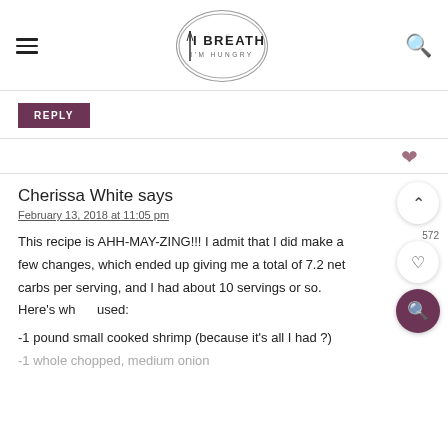I BREATHE I'M HUNGRY
REPLY
Cherissa White says
February 13, 2018 at 11:05 pm

This recipe is AHH-MAY-ZING!!! I admit that I did make a few changes, which ended up giving me a total of 7.2 net carbs per serving, and I had about 10 servings or so. Here's what I used:
-1 pound small cooked shrimp (because it's all I had ?)
-1 whole chopped, medium onion